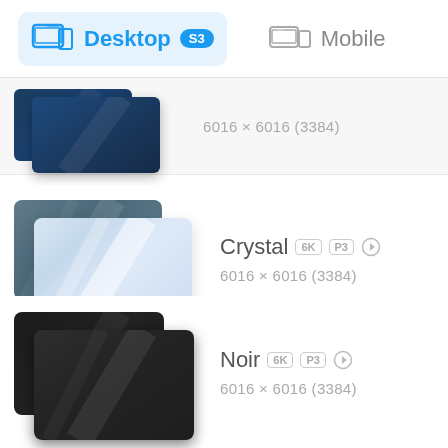[Figure (screenshot): Desktop/Mobile tab selector with Desktop tab active (blue highlight, badge S3) and Mobile tab inactive]
[Figure (screenshot): Partial wallpaper item at top showing dark blue gradient thumbnails with dimensions 6016 x 6016 (3384)]
6016 x 6016  (3384)
[Figure (screenshot): Crystal wallpaper item showing grey-blue and light crystal gradient thumbnails with 6K P3 badges]
Crystal  6K  P3
6016 x 6016  (3384)
[Figure (screenshot): Noir wallpaper item showing dark/black gradient thumbnails with 6K P3 badges]
Noir  6K  P3
6016 x 6016  (3384)